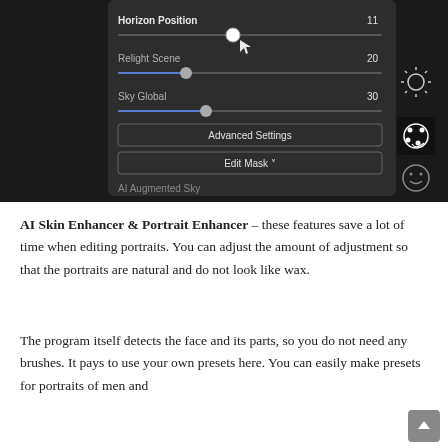[Figure (screenshot): Dark UI panel showing sliders for Horizon Position (11), Relight Scene (20), Sky Global (30), with Advanced Settings and Edit Mask buttons. Right sidebar shows sun, palette, and smiley icons. Bottom shows AI Augmented Sky label.]
AI Skin Enhancer & Portrait Enhancer – these features save a lot of time when editing portraits. You can adjust the amount of adjustment so that the portraits are natural and do not look like wax.
The program itself detects the face and its parts, so you do not need any brushes. It pays to use your own presets here. You can easily make presets for portraits of men and